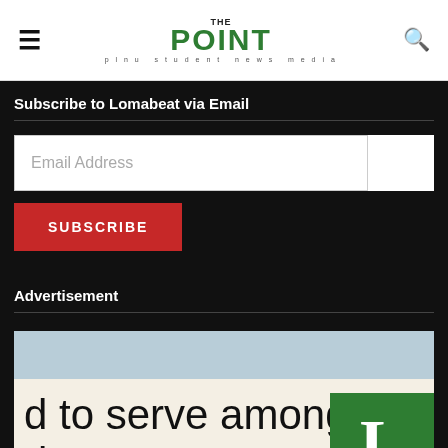THE POINT — plnu student news media
Subscribe to Lomabeat via Email
Email Address
SUBSCRIBE
Advertisement
[Figure (screenshot): Advertisement image showing partial headline text 'd to serve among urban poor?' with a green box containing a white letter 'L' and dot, over a light background.]